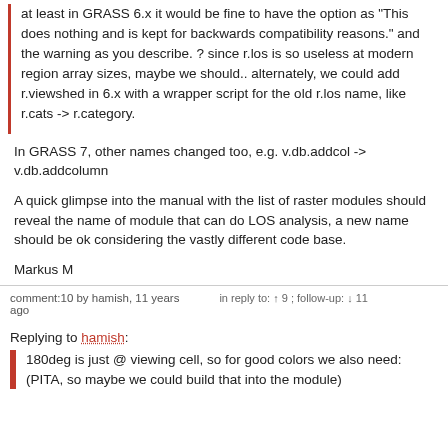at least in GRASS 6.x it would be fine to have the option as "This does nothing and is kept for backwards compatibility reasons." and the warning as you describe. ? since r.los is so useless at modern region array sizes, maybe we should.. alternately, we could add r.viewshed in 6.x with a wrapper script for the old r.los name, like r.cats -> r.category.
In GRASS 7, other names changed too, e.g. v.db.addcol -> v.db.addcolumn
A quick glimpse into the manual with the list of raster modules should reveal the name of module that can do LOS analysis, a new name should be ok considering the vastly different code base.
Markus M
comment:10 by hamish, 11 years ago    in reply to: ↑ 9 ; follow-up: ↓ 11
Replying to hamish:
180deg is just @ viewing cell, so for good colors we also need: (PITA, so maybe we could build that into the module)